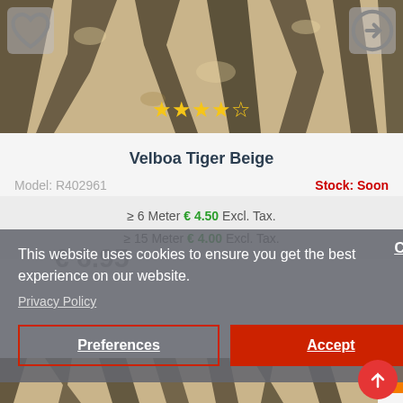[Figure (photo): Tiger beige fabric texture with black and tan stripes pattern, with heart icon overlay top-left and arrow icon overlay top-right, and 4-star rating overlay]
Velboa Tiger Beige
Model: R402961
Stock: Soon
≥ 6 Meter € 4.50 Excl. Tax.
≥ 15 Meter € 4.00 Excl. Tax.
€ 6.95
This website uses cookies to ensure you get the best experience on our website.
Privacy Policy
Close
Preferences
Accept
Filter Products